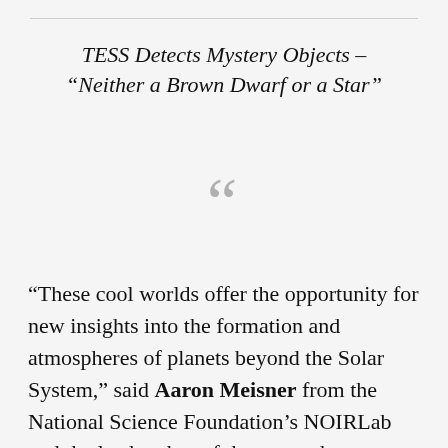TESS Detects Mystery Objects – "Neither a Brown Dwarf or a Star"
“These cool worlds offer the opportunity for new insights into the formation and atmospheres of planets beyond the Solar System,” said Aaron Meisner from the National Science Foundation’s NOIRLab and the lead author of the research paper. “This collection of cool brown dwarfs also allows us to accurately estimate the number of free